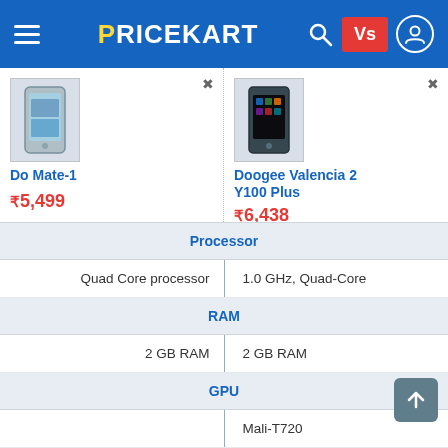PRICEKART — Vs comparison page header
| Do Mate-1 | Doogee Valencia 2 Y100 Plus |
| --- | --- |
| ₹5,499 | ₹6,438 |
| Processor | Processor |
| Quad Core processor | 1.0 GHz, Quad-Core |
| RAM | RAM |
| 2 GB RAM | 2 GB RAM |
| GPU | GPU |
| - | Mali-T720 |
| Dual Rear Camera | Dual Rear Camera |
| - | - |
| Rear Camera Resolution | Rear Camera Resolution |